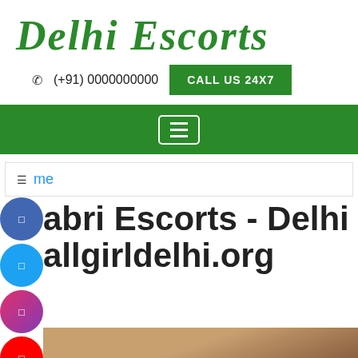Delhi Escorts
☎  (+91) 0000000000   CALL US 24X7
≡ (menu)
Home
abri Escorts - Delhi allgirldelhi.org
[Figure (photo): Partial view of a woman, photo partially visible at bottom of page]